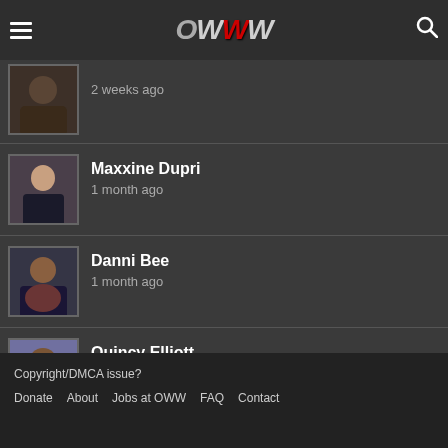OWW
2 weeks ago
Maxxine Dupri
1 month ago
Danni Bee
1 month ago
Quincy Elliott
1 month ago
Copyright/DMCA issue?
Donate  About  Jobs at OWW  FAQ  Contact